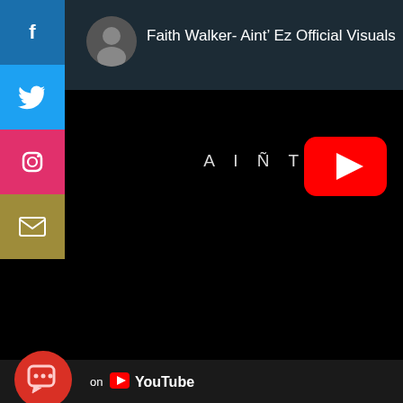[Figure (screenshot): YouTube video page screenshot showing social media share icons (Facebook, Twitter, Instagram, Email) on the left sidebar, a dark header with channel avatar and video title 'Faith Walker- Aint' Ez Official Visuals', a black video thumbnail area with YouTube play button overlay, and a bottom bar with YouTube branding and a red chat bubble icon.]